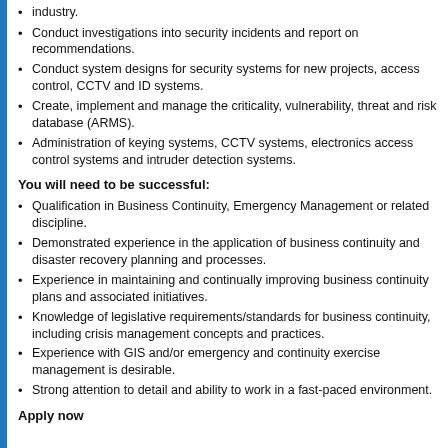industry.
Conduct investigations into security incidents and report on recommendations.
Conduct system designs for security systems for new projects, access control, CCTV and ID systems.
Create, implement and manage the criticality, vulnerability, threat and risk database (ARMS).
Administration of keying systems, CCTV systems, electronics access control systems and intruder detection systems.
You will need to be successful:
Qualification in Business Continuity, Emergency Management or related discipline.
Demonstrated experience in the application of business continuity and disaster recovery planning and processes.
Experience in maintaining and continually improving business continuity plans and associated initiatives.
Knowledge of legislative requirements/standards for business continuity, including crisis management concepts and practices.
Experience with GIS and/or emergency and continuity exercise management is desirable.
Strong attention to detail and ability to work in a fast-paced environment.
Apply now